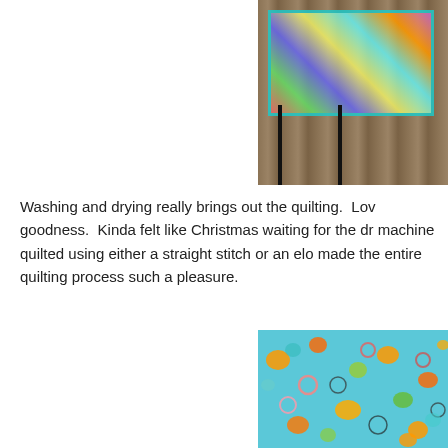[Figure (photo): Photo of a colorful quilt laid out on a wooden floor, partially visible, with bright multicolored pattern and teal border, chairs visible in background.]
Washing and drying really brings out the quilting.  Lov goodness.  Kinda felt like Christmas waiting for the dr machine quilted using either a straight stitch or an elo made the entire quilting process such a pleasure.
[Figure (photo): Close-up photo of colorful quilt fabric showing circles and bubbles pattern in turquoise, orange, green, pink, and brown colors with visible quilting stitches.]